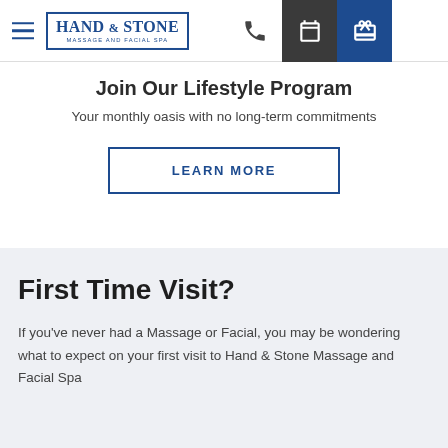Hand & Stone Massage and Facial Spa — navigation bar with hamburger menu, logo, phone icon, calendar icon, gift icon
Join Our Lifestyle Program
Your monthly oasis with no long-term commitments
LEARN MORE
First Time Visit?
If you've never had a Massage or Facial, you may be wondering what to expect on your first visit to Hand & Stone Massage and Facial Spa